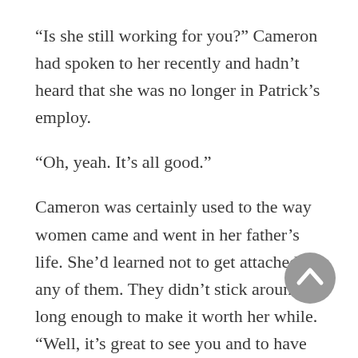“Is she still working for you?” Cameron had spoken to her recently and hadn’t heard that she was no longer in Patrick’s employ.
“Oh, yeah. It’s all good.”
Cameron was certainly used to the way women came and went in her father’s life. She’d learned not to get attached to any of them. They didn’t stick around long enough to make it worth her while. “Well, it’s great to see you and to have you here. I know it’s not what you’re used to, but I think you’ll enjoy it.”
He stopped walking and turned to her. “You’re here. That’s all I need to enjoy myself, honey.”
Cameron let the garment bag flop over her arm so she could hug him. “Thank you so much for coming, Dad.”